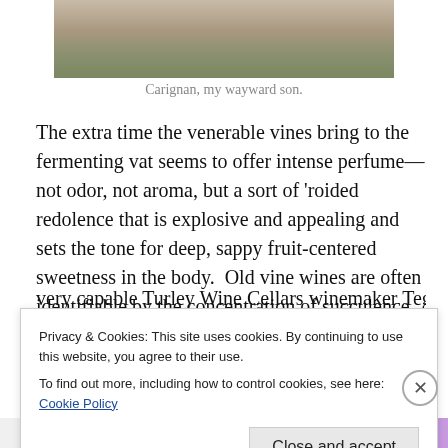[Figure (photo): Bottom portion of people standing in a vineyard/field with soil and green plants visible, showing legs and feet only]
Carignan, my wayward son.
The extra time the venerable vines bring to the fermenting vat seems to offer intense perfume—not odor, not aroma, but a sort of 'roided redolence that is explosive and appealing and sets the tone for deep, sappy fruit-centered sweetness in the body.  Old vine wines are often identifiable by the concentration of succulence, the focus of flamboyance.  And know who agrees with me?  The very capable Turley Wine Cellars winemaker Tegan
Privacy & Cookies: This site uses cookies. By continuing to use this website, you agree to their use.
To find out more, including how to control cookies, see here: Cookie Policy